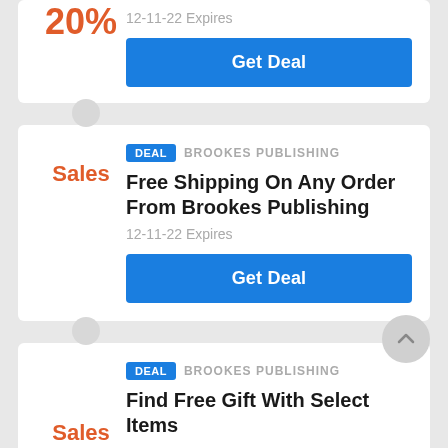20%
12-11-22 Expires
Get Deal
DEAL  BROOKES PUBLISHING
Free Shipping On Any Order From Brookes Publishing
Sales
12-11-22 Expires
Get Deal
DEAL  BROOKES PUBLISHING
Find Free Gift With Select Items
Sales